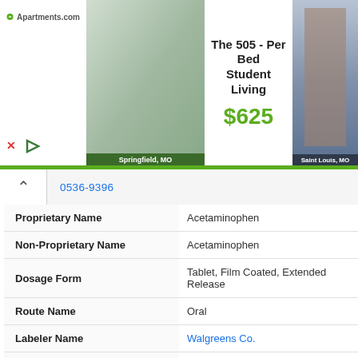[Figure (screenshot): Advertisement banner for Apartments.com featuring The 505 Per Bed Student Living at $625, with photos of apartment interior (Springfield, MO) and exterior building (Saint Louis, MO)]
| Field | Value |
| --- | --- |
| Proprietary Name | Acetaminophen |
| Non-Proprietary Name | Acetaminophen |
| Dosage Form | Tablet, Film Coated, Extended Release |
| Route Name | Oral |
| Labeler Name | Walgreens Co. |
| Product Type | Human Otc Drug |
| NDC | 0536-1172 |
| Proprietary Name | Acetaminophen |
| Non-Proprietary Name | Acetaminophen |
| Dosage Form | Tablet |
| Route Name | Oral |